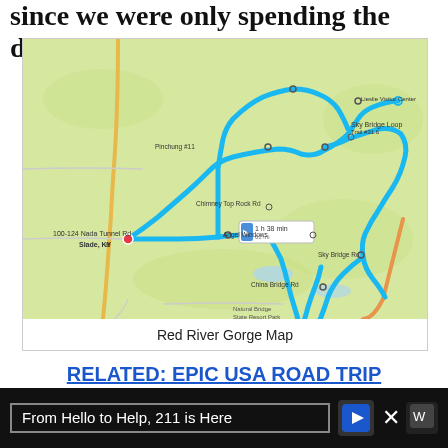since we were only spending the day there.
[Figure (map): Google Maps route map of Red River Gorge area in Kentucky, showing a blue highlighted driving/hiking route connecting various points including Mada Tunnel Rd, Sky Bridge Loop Trail, Chimney Top Rock Rd, Angel Windows, Sky Bridge Rd, China Bridge Rd, and Slade KY.]
Red River Gorge Map
RELATED: EPIC USA ROAD TRIP
From Hello to Help, 211 is Here